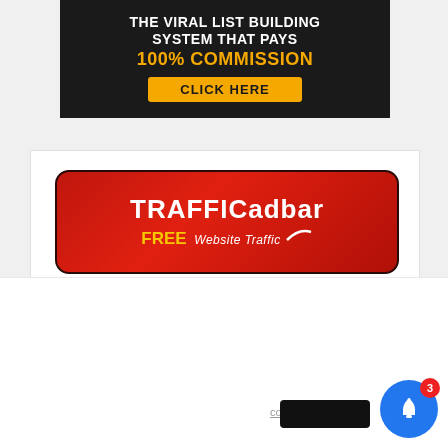[Figure (screenshot): Advertisement banner: 'THE VIRAL LIST BUILDING SYSTEM THAT PAYS 100% COMMISSION' with CLICK HERE button on dark background]
[Figure (screenshot): TRAFFICadbar banner - red rounded rectangle with white bold text 'TRAFFICadbar' and 'FREE Website Traffic' in white italic with curved underline]
[Figure (screenshot): Pop-up notification UI: X close button, partial right text 'experience. We'll', 'out if yo...', 'ow', popup box with blue link text 'Is a online business for ladies at home a real thing?' and '2 hours ago', cookie settings text, blue notification bell with badge showing 3]